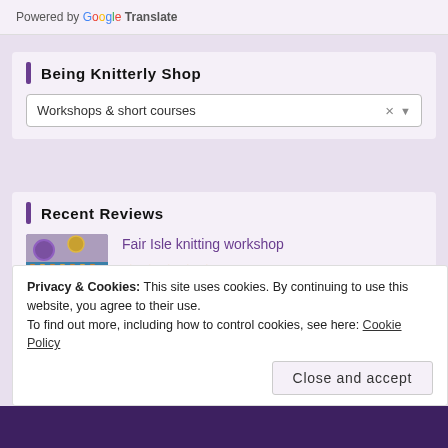Powered by Google Translate
Being Knitterly Shop
Workshops & short courses
Recent Reviews
[Figure (photo): Photo of colorful knitting with yarn balls]
Fair Isle knitting workshop
★★★★★
by Vanessa
Privacy & Cookies: This site uses cookies. By continuing to use this website, you agree to their use. To find out more, including how to control cookies, see here: Cookie Policy
Close and accept